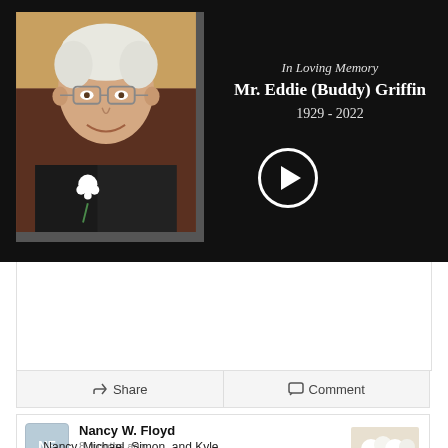[Figure (photo): Memorial video thumbnail: elderly man with white hair, glasses, dark jacket with white flower boutonniere, smiling. Dark background with text 'In Loving Memory Mr. Eddie (Buddy) Griffin 1929 - 2022' and a circular play button.]
Share
Comment
Nancy W. Floyd
8 months ago
… Nancy, Michael, Simon, and Kyle …